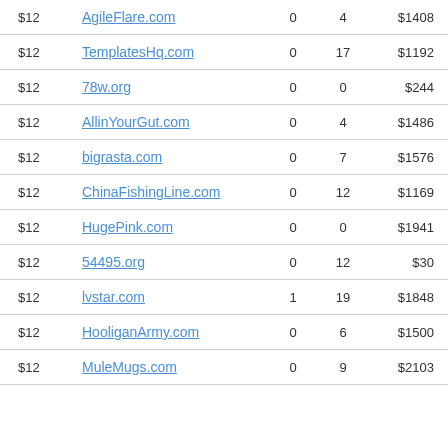| Price | Domain | Col1 | Col2 | Value |
| --- | --- | --- | --- | --- |
| $12 | AgileFlare.com | 0 | 4 | $1408 |
| $12 | TemplatesHq.com | 0 | 17 | $1192 |
| $12 | 78w.org | 0 | 0 | $244 |
| $12 | AllinYourGut.com | 0 | 4 | $1486 |
| $12 | bigrasta.com | 0 | 7 | $1576 |
| $12 | ChinaFishingLine.com | 0 | 12 | $1169 |
| $12 | HugePink.com | 0 | 0 | $1941 |
| $12 | 54495.org | 0 | 12 | $30 |
| $12 | lvstar.com | 1 | 19 | $1848 |
| $12 | HooliganArmy.com | 0 | 6 | $1500 |
| $12 | MuleMugs.com | 0 | 9 | $2103 |